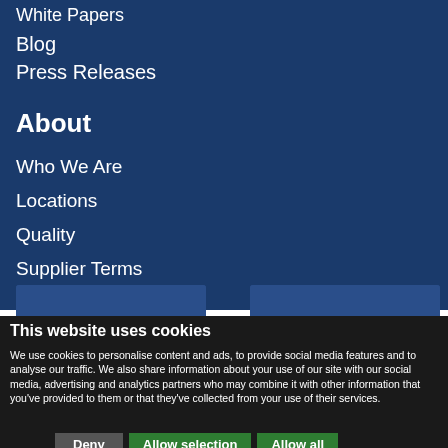White Papers
Blog
Press Releases
About
Who We Are
Locations
Quality
Supplier Terms
[Figure (screenshot): Two blue card elements with circular icons visible at bottom of blue navigation background]
This website uses cookies
We use cookies to personalise content and ads, to provide social media features and to analyse our traffic. We also share information about your use of our site with our social media, advertising and analytics partners who may combine it with other information that you've provided to them or that they've collected from your use of their services.
Deny | Allow selection | Allow all
Necessary  Preferences  Statistics  Marketing  Show details